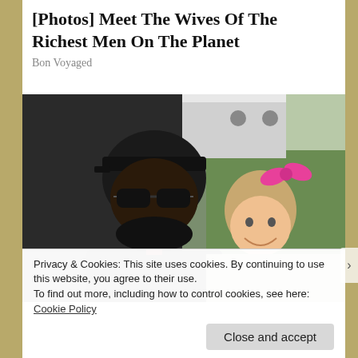[Photos] Meet The Wives Of The Richest Men On The Planet
Bon Voyaged
[Figure (photo): A smiling man wearing a black cap and dark sunglasses posing with a young girl who has a pink bow in her hair, outdoors near a vehicle and grassy background.]
Privacy & Cookies: This site uses cookies. By continuing to use this website, you agree to their use.
To find out more, including how to control cookies, see here:
Cookie Policy
Close and accept